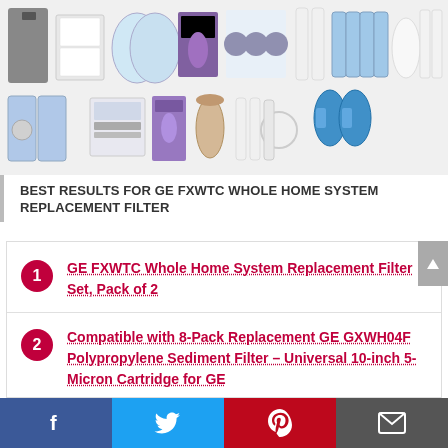[Figure (photo): Grid of water filter product images in two rows showing various replacement filter products including GE FXWTC, sediment filters, and other water filtration products]
BEST RESULTS FOR GE FXWTC WHOLE HOME SYSTEM REPLACEMENT FILTER
1 GE FXWTC Whole Home System Replacement Filter Set, Pack of 2
2 Compatible with 8-Pack Replacement GE GXWH04F Polypropylene Sediment Filter – Universal 10-inch 5-Micron Cartridge for GE HOUSEHOLD PRE-FILTRATION SYSTEM
Facebook Twitter Pinterest Email